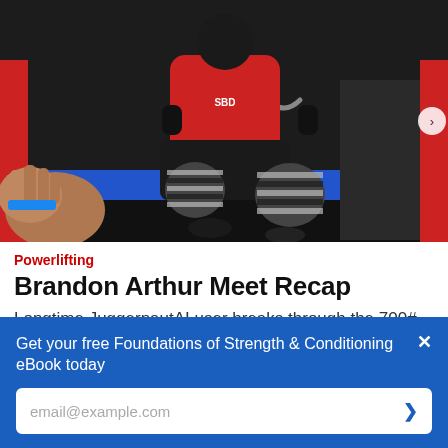[Figure (photo): Powerlifter performing a squat with wrapped knees, red platform and equipment visible, coaches/spotters around, gym competition setting]
Powerlifting
Brandon Arthur Meet Recap
Longtime JuggernautAI user breaks through the 700# Squat barrier!
Get your free Foundations of Strength & Conditioning eBook today
email@example.com